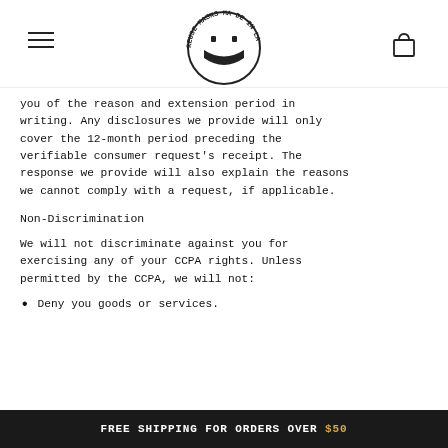[Reuse Masks logo with hamburger menu and cart icon]
you of the reason and extension period in writing. Any disclosures we provide will only cover the 12-month period preceding the verifiable consumer request's receipt. The response we provide will also explain the reasons we cannot comply with a request, if applicable.
Non-Discrimination
We will not discriminate against you for exercising any of your CCPA rights. Unless permitted by the CCPA, we will not:
Deny you goods or services.
FREE SHIPPING FOR ORDERS OVER $50